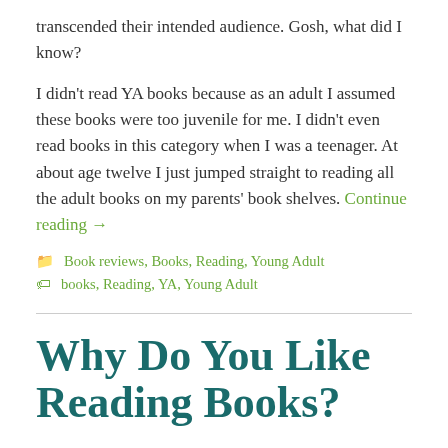transcended their intended audience. Gosh, what did I know?
I didn't read YA books because as an adult I assumed these books were too juvenile for me. I didn't even read books in this category when I was a teenager. At about age twelve I just jumped straight to reading all the adult books on my parents' book shelves. Continue reading →
📁 Book reviews, Books, Reading, Young Adult
🏷 books, Reading, YA, Young Adult
Why Do You Like Reading Books?